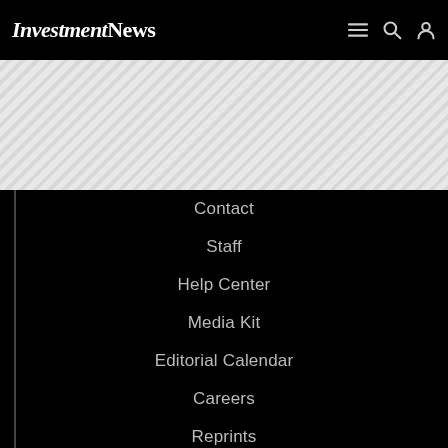InvestmentNews
[Figure (other): Diagonal striped banner/advertisement area]
Contact
Staff
Help Center
Media Kit
Editorial Calendar
Careers
Reprints
Content Strategy Studio
Custom Research Services
Cookie Preferences